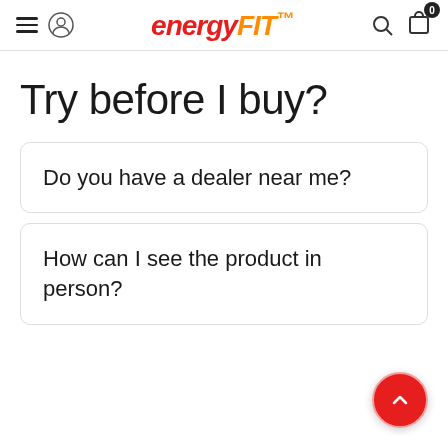ENERGYFIT
Try before I buy?
Do you have a dealer near me?
How can I see the product in person?